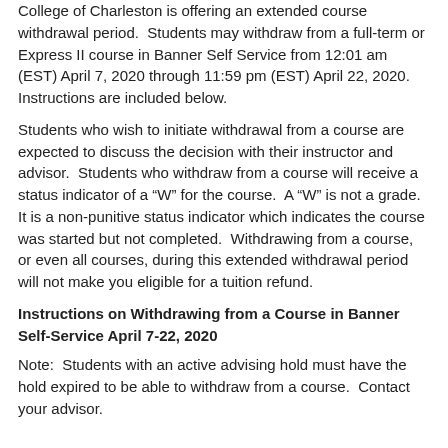College of Charleston is offering an extended course withdrawal period. Students may withdraw from a full-term or Express II course in Banner Self Service from 12:01 am (EST) April 7, 2020 through 11:59 pm (EST) April 22, 2020. Instructions are included below.
Students who wish to initiate withdrawal from a course are expected to discuss the decision with their instructor and advisor. Students who withdraw from a course will receive a status indicator of a “W” for the course. A “W” is not a grade. It is a non-punitive status indicator which indicates the course was started but not completed. Withdrawing from a course, or even all courses, during this extended withdrawal period will not make you eligible for a tuition refund.
Instructions on Withdrawing from a Course in Banner Self-Service April 7-22, 2020
Note: Students with an active advising hold must have the hold expired to be able to withdraw from a course. Contact your advisor.